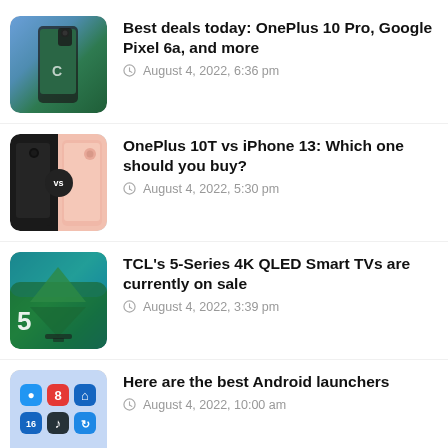Best deals today: OnePlus 10 Pro, Google Pixel 6a, and more | August 4, 2022, 6:36 pm
OnePlus 10T vs iPhone 13: Which one should you buy? | August 4, 2022, 5:30 pm
TCL's 5-Series 4K QLED Smart TVs are currently on sale | August 4, 2022, 3:39 pm
Here are the best Android launchers | August 4, 2022, 10:00 am